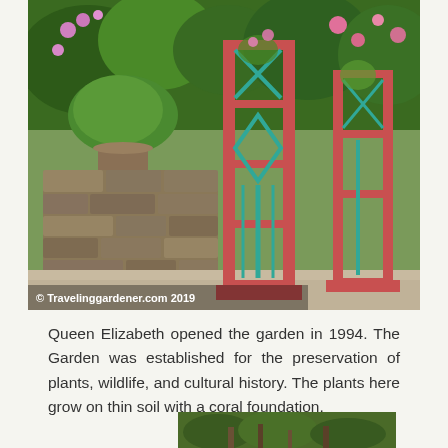[Figure (photo): Garden photo showing pink/coral painted trellis structures with teal accents, a dry stone wall made of coral rock, gravel path, and lush green tropical foliage with pink flowering plants. Copyright watermark reads: © Travelinggardener.com 2019]
Queen Elizabeth opened the garden in 1994. The Garden was established for the preservation of plants, wildlife, and cultural history. The plants here grow on thin soil with a coral foundation.
[Figure (photo): Partially visible garden photo at bottom of page showing plants and ground-level vegetation.]